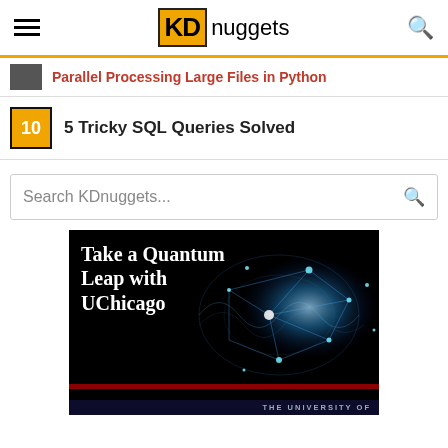KDnuggets
Parallel Processing Large Files in Python (partially visible)
10  5 Tricky SQL Queries Solved
Search KDnuggets...
[Figure (illustration): Advertisement banner: Take a Quantum Leap with UChicago - black background with glowing blue network/quantum visualization, red bar and THE UNIVERSITY OF text at bottom]